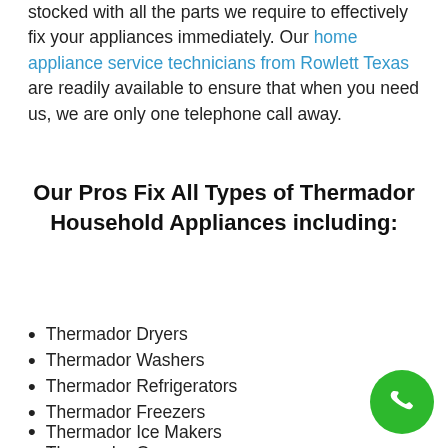stocked with all the parts we require to effectively fix your appliances immediately. Our home appliance service technicians from Rowlett Texas are readily available to ensure that when you need us, we are only one telephone call away.
Our Pros Fix All Types of Thermador Household Appliances including:
Thermador Dryers
Thermador Washers
Thermador Refrigerators
Thermador Freezers
Thermador Ice Makers
Thermador Ovens